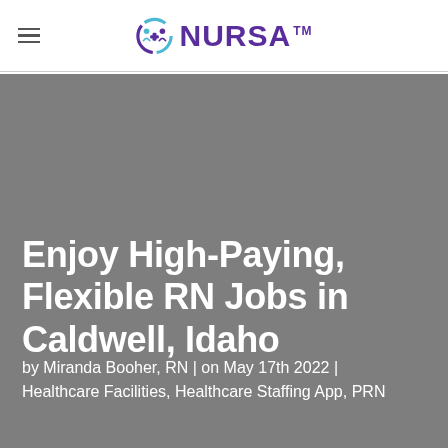NURSA™
Enjoy High-Paying, Flexible RN Jobs in Caldwell, Idaho
by Miranda Booher, RN | on May 17th 2022 | Healthcare Facilities, Healthcare Staffing App, PRN